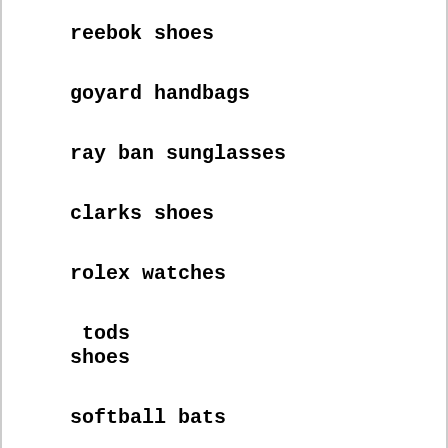reebok shoes
goyard handbags
ray ban sunglasses
clarks shoes
rolex watches
tods
shoes
softball bats